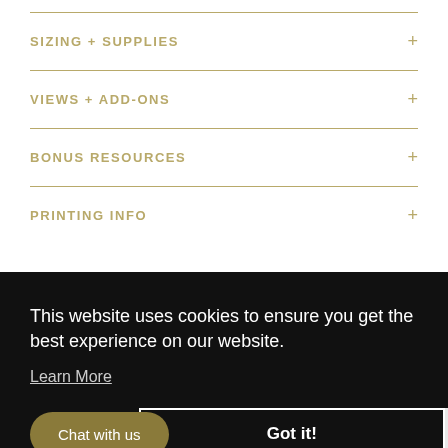SIZING + SUPPLIES
VIEWS + ADD-ONS
BONUS RESOURCES
PRINTING INFO
This website uses cookies to ensure you get the best experience on our website.
Learn More
Got it!
Chat with us